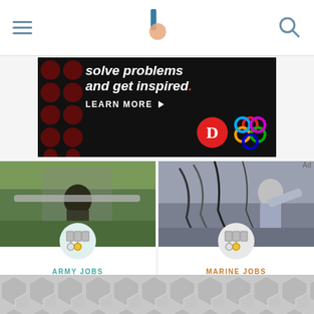Navigation header with hamburger menu, logo, and search icon
[Figure (illustration): Advertisement banner with dark background, dot pattern, text 'solve problems and get inspired.' with LEARN MORE button, and brand logos including a red circle with 'D' and a colorful Olympic-style logo]
[Figure (photo): Soldier in military gear lifting a large pipe or beam outdoors in a forested area]
ARMY JOBS
The Army Jobs That Are in the Quartermaster's Corps Field
[Figure (photo): Female marine working with electrical wiring and cables in a technical setting]
MARINE JOBS
Marine Corps Job: MOS 2611
[Figure (illustration): Bottom advertisement banner with geometric hexagon tile pattern in gray]